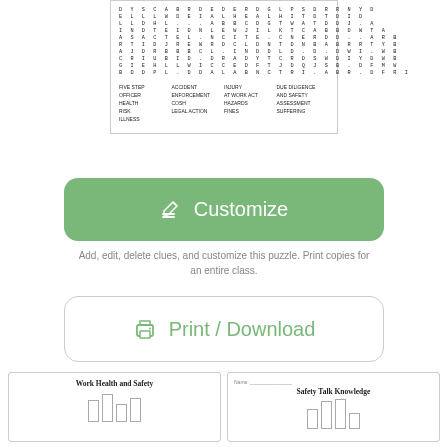[Figure (other): Word search puzzle grid with hidden words related to Work Health and Safety. Grid contains scrambled letters. Word list below includes: FIVE STEP, OFFICER, HEALTH, RISK, ILLNESS, ACCIDENT, ENFORCEMENT, COSH, LEGAL ACTION, INJURY, AT WORK ACT, HAZARDS, FINES, DUE DILIGENCE, AND SAFETY, ASSESSMENT, SUFFERING]
[Figure (other): Green rounded rectangle button labeled 'Customize' with a pencil/edit icon on the left]
Add, edit, delete clues, and customize this puzzle. Print copies for an entire class.
[Figure (other): White rounded rectangle button with green border labeled 'Print / Download' with a printer icon on the left]
[Figure (other): Preview card thumbnail showing 'Work Health and Safety' worksheet with bar chart elements]
[Figure (other): Preview card thumbnail showing 'Safety Talk Knowledge' worksheet with bar chart elements]